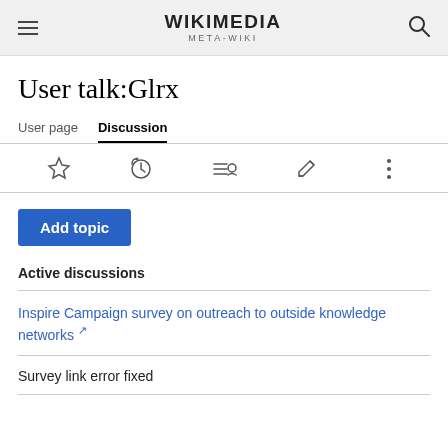WIKIMEDIA META-WIKI
User talk:Glrx
User page  Discussion
[Figure (screenshot): Toolbar with star, history, contributor list, edit pencil, and three-dot menu icons]
Add topic
Active discussions
Inspire Campaign survey on outreach to outside knowledge networks [external link]
Survey link error fixed